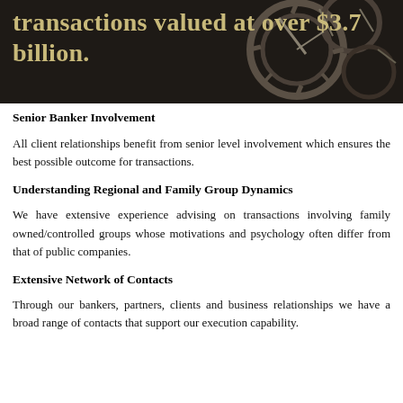[Figure (photo): Dark background image with gear/watch mechanism, overlaid with bold gold text reading 'transactions valued at over $3.7 billion.']
Senior Banker Involvement
All client relationships benefit from senior level involvement which ensures the best possible outcome for transactions.
Understanding Regional and Family Group Dynamics
We have extensive experience advising on transactions involving family owned/controlled groups whose motivations and psychology often differ from that of public companies.
Extensive Network of Contacts
Through our bankers, partners, clients and business relationships we have a broad range of contacts that support our execution capability.